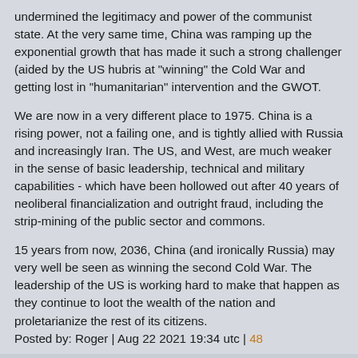undermined the legitimacy and power of the communist state. At the very same time, China was ramping up the exponential growth that has made it such a strong challenger (aided by the US hubris at "winning" the Cold War and getting lost in "humanitarian" intervention and the GWOT.
We are now in a very different place to 1975. China is a rising power, not a failing one, and is tightly allied with Russia and increasingly Iran. The US, and West, are much weaker in the sense of basic leadership, technical and military capabilities - which have been hollowed out after 40 years of neoliberal financialization and outright fraud, including the strip-mining of the public sector and commons.
15 years from now, 2036, China (and ironically Russia) may very well be seen as winning the second Cold War. The leadership of the US is working hard to make that happen as they continue to loot the wealth of the nation and proletarianize the rest of its citizens.
Posted by: Roger | Aug 22 2021 19:34 utc | 48
Posted by: ptb | Aug 22 2021 15:40 utc | 13:
Efficacy of Chinese vaxx is reflected in another respect that's not been discussed in the media, and that's the case of Hong Kong. Predominant people of Hong Kong were